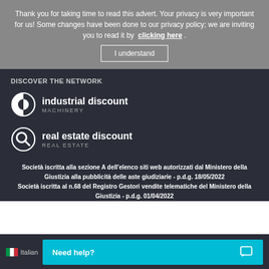Thank you for taking time to read this advert. Your privacy is very important for us! Some changes have been done to our privacy policy; we are inviting you to read it by  clicking here .
I understand
DISCOVER THE NETWORK
[Figure (logo): industrial discount MACHINERY logo with half-circle icon]
[Figure (logo): real estate discount REAL ESTATE logo with search/magnifier icon]
Società iscritta alla sezione A dell'elenco siti web autorizzati dal Ministero della Giustizia alla pubblicità delle aste giudiziarie - p.d.g. 18/05/2022
Società iscritta al n.68 del Registro Gestori vendite telematiche del Ministero della Giustizia - p.d.g. 01/04/2022
🇮🇹 Italian
Need help?